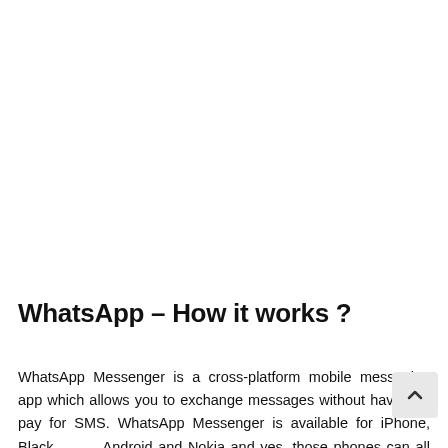WhatsApp – How it works ?
WhatsApp Messenger is a cross-platform mobile messaging app which allows you to exchange messages without having to pay for SMS. WhatsApp Messenger is available for iPhone, Black Android and Nokia and yes, those phones can all message other! Because WhatsApp Messenger uses the same internet data